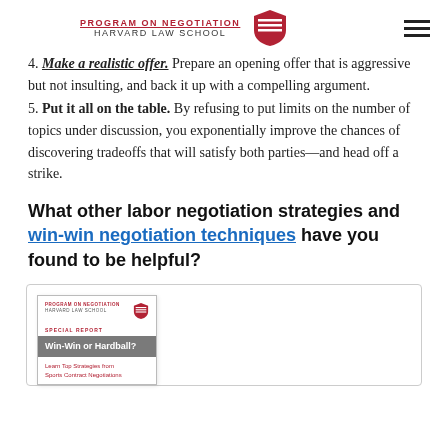PROGRAM ON NEGOTIATION / HARVARD LAW SCHOOL
4. Make a realistic offer. Prepare an opening offer that is aggressive but not insulting, and back it up with a compelling argument.
5. Put it all on the table. By refusing to put limits on the number of topics under discussion, you exponentially improve the chances of discovering tradeoffs that will satisfy both parties—and head off a strike.
What other labor negotiation strategies and win-win negotiation techniques have you found to be helpful?
[Figure (illustration): Promotional box showing a book/report cover for 'Win-Win or Hardball? Learn Top Strategies from Sports Contract Negotiations' published by Program on Negotiation at Harvard Law School.]